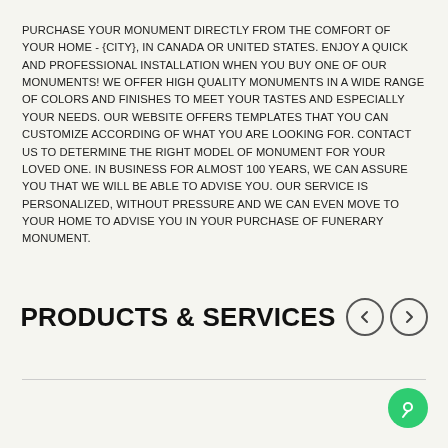PURCHASE YOUR MONUMENT DIRECTLY FROM THE COMFORT OF YOUR HOME - {CITY}, IN CANADA OR UNITED STATES. ENJOY A QUICK AND PROFESSIONAL INSTALLATION WHEN YOU BUY ONE OF OUR MONUMENTS! WE OFFER HIGH QUALITY MONUMENTS IN A WIDE RANGE OF COLORS AND FINISHES TO MEET YOUR TASTES AND ESPECIALLY YOUR NEEDS. OUR WEBSITE OFFERS TEMPLATES THAT YOU CAN CUSTOMIZE ACCORDING OF WHAT YOU ARE LOOKING FOR. CONTACT US TO DETERMINE THE RIGHT MODEL OF MONUMENT FOR YOUR LOVED ONE. IN BUSINESS FOR ALMOST 100 YEARS, WE CAN ASSURE YOU THAT WE WILL BE ABLE TO ADVISE YOU. OUR SERVICE IS PERSONALIZED, WITHOUT PRESSURE AND WE CAN EVEN MOVE TO YOUR HOME TO ADVISE YOU IN YOUR PURCHASE OF FUNERARY MONUMENT.
PRODUCTS & SERVICES
[Figure (other): Navigation arrows (previous and next) for a carousel/slider section, rendered as circular outlined buttons with < and > symbols]